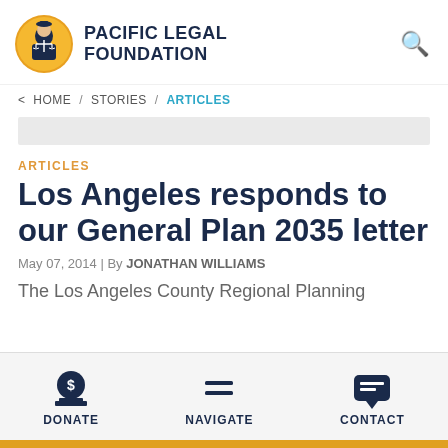PACIFIC LEGAL FOUNDATION
< HOME / STORIES / ARTICLES
ARTICLES
Los Angeles responds to our General Plan 2035 letter
May 07, 2014 | By JONATHAN WILLIAMS
The Los Angeles County Regional Planning
DONATE   NAVIGATE   CONTACT